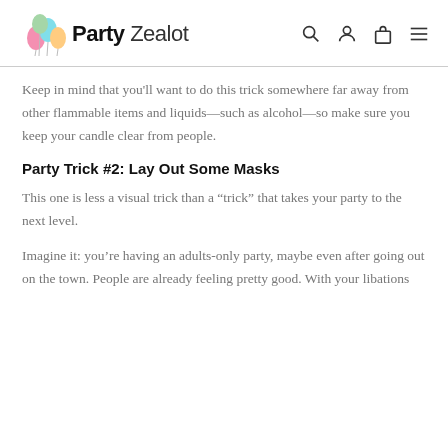Party Zealot
Keep in mind that you'll want to do this trick somewhere far away from other flammable items and liquids—such as alcohol—so make sure you keep your candle clear from people.
Party Trick #2: Lay Out Some Masks
This one is less a visual trick than a “trick” that takes your party to the next level.
Imagine it: you’re having an adults-only party, maybe even after going out on the town. People are already feeling pretty good. With your libations